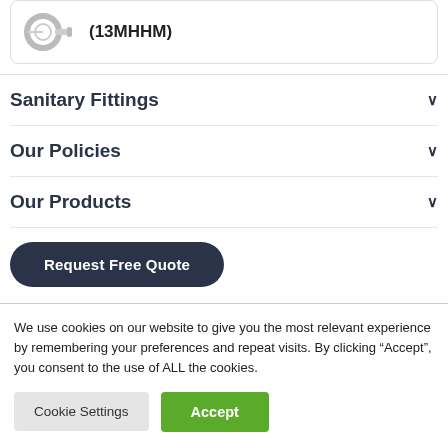[Figure (photo): Product image of a sanitary fitting hose coupling (13MHHM)]
(13MHHM)
Sanitary Fittings
Our Policies
Our Products
Request Free Quote
We use cookies on our website to give you the most relevant experience by remembering your preferences and repeat visits. By clicking “Accept”, you consent to the use of ALL the cookies.
Cookie Settings
Accept